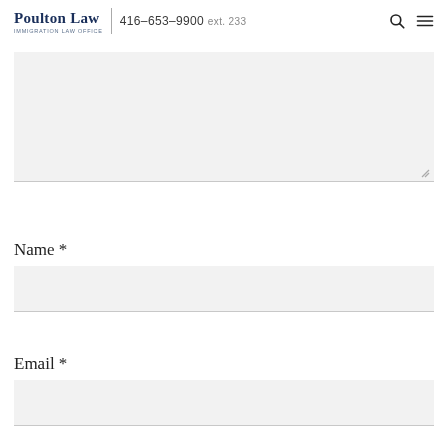Poulton Law IMMIGRATION LAW OFFICE | 416-653-9900 ext. 233
[Figure (screenshot): Large textarea form field with light grey background and bottom border, resize handle at bottom right]
Name *
[Figure (screenshot): Single-line text input field for Name with light grey background and bottom border]
Email *
[Figure (screenshot): Single-line text input field for Email with light grey background and bottom border]